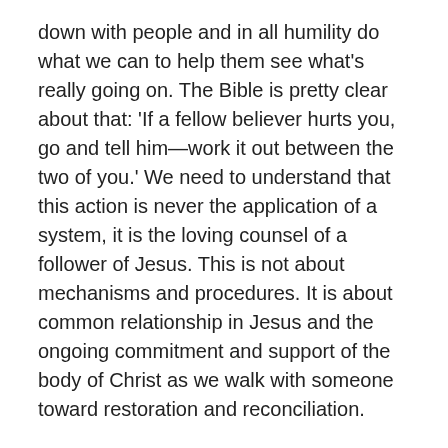down with people and in all humility do what we can to help them see what's really going on. The Bible is pretty clear about that: 'If a fellow believer hurts you, go and tell him—work it out between the two of you.' We need to understand that this action is never the application of a system, it is the loving counsel of a follower of Jesus. This is not about mechanisms and procedures. It is about common relationship in Jesus and the ongoing commitment and support of the body of Christ as we walk with someone toward restoration and reconciliation.
Transforming the system
So how do we know if the discomfort in situation is being caused by a poorly applied system or the Gospel of Jesus? That's a pretty important question. Perhaps the